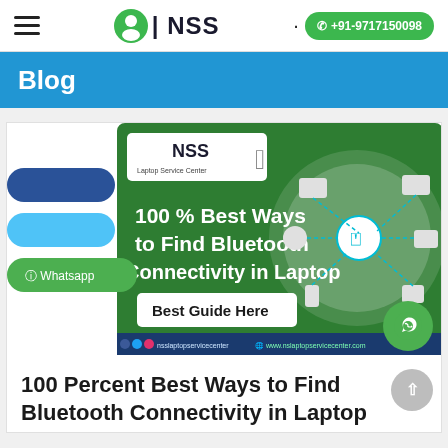≡  NSS  · +91-9717150098
Blog
[Figure (infographic): NSS Laptop Service Center promotional banner showing '100 % Best Ways to Find Bluetooth Connectivity in Laptop' with a Bluetooth connectivity diagram and 'Best Guide Here' button. Social media handles and website shown at bottom.]
100 Percent Best Ways to Find Bluetooth Connectivity in Laptop